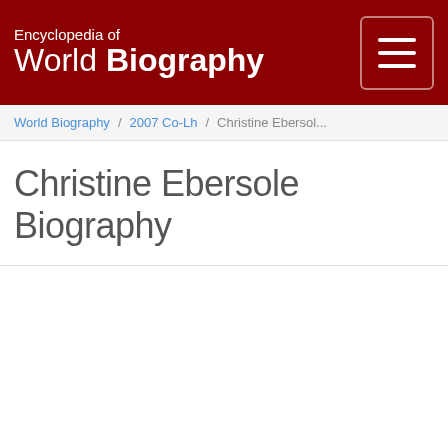Encyclopedia of World Biography
World Biography / 2007 Co-Lh / Christine Ebersol...
Christine Ebersole Biography